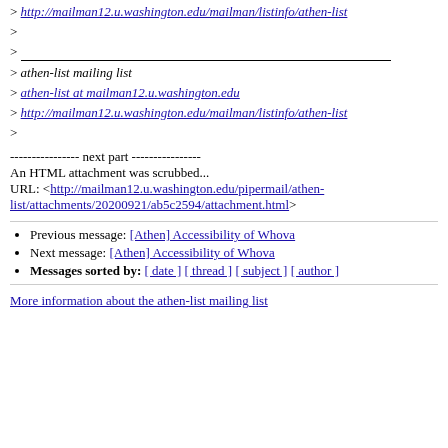> http://mailman12.u.washington.edu/mailman/listinfo/athen-list
>
> ___________________________________
> athen-list mailing list
> athen-list at mailman12.u.washington.edu
> http://mailman12.u.washington.edu/mailman/listinfo/athen-list
>
---------------- next part ----------------
An HTML attachment was scrubbed...
URL: <http://mailman12.u.washington.edu/pipermail/athen-list/attachments/20200921/ab5c2594/attachment.html>
Previous message: [Athen] Accessibility of Whova
Next message: [Athen] Accessibility of Whova
Messages sorted by: [ date ] [ thread ] [ subject ] [ author ]
More information about the athen-list mailing list